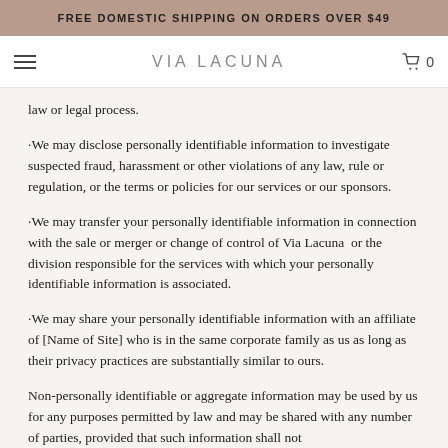FREE DOMESTIC SHIPPING ON ORDERS OVER $49
VIA LACUNA  0
law or legal process.
·We may disclose personally identifiable information to investigate suspected fraud, harassment or other violations of any law, rule or regulation, or the terms or policies for our services or our sponsors.
·We may transfer your personally identifiable information in connection with the sale or merger or change of control of Via Lacuna  or the division responsible for the services with which your personally identifiable information is associated.
·We may share your personally identifiable information with an affiliate of [Name of Site] who is in the same corporate family as us as long as their privacy practices are substantially similar to ours.
Non-personally identifiable or aggregate information may be used by us for any purposes permitted by law and may be shared with any number of parties, provided that such information shall not